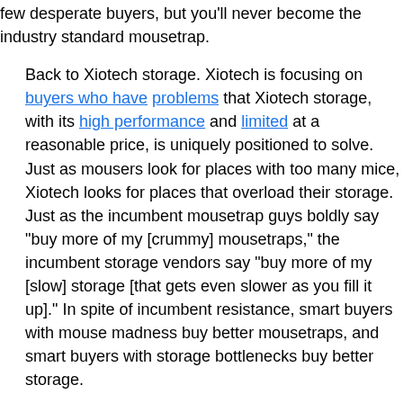few desperate buyers, but you'll never become the indus... mousetrap.
Back to Xiotech storage. Xiotech is focusing on buyers who ha... problems that Xiotech storage, with its high performance and li... at a reasonable price, is uniquely positioned to solve. Just as m... look for places with too many mice, Xiotech looks for places tha... their storage. Just as the incumbent mousetrap guys boldly say... of my [crummy] mousetraps," the incumbent storage vendors sa... of my [slow] storage [that gets even slower as you fill it up]." In s... incumbent resistance, smart buyers with mouse madness buy b... mousetraps, and smart buyers with storage bottlenecks buy bet...
Success with new technology is usually only achieved when:
there are pockets of buyers who have SERIOUS pain;
the pain is worth serious money;
you can find the people with the pain;